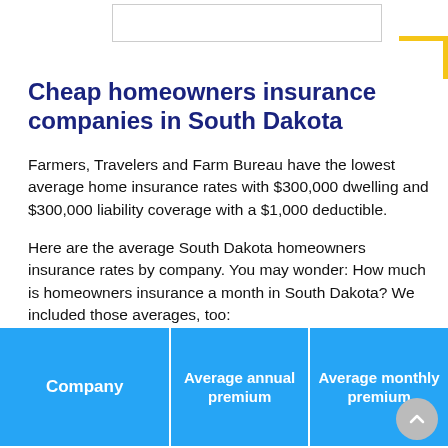Cheap homeowners insurance companies in South Dakota
Farmers, Travelers and Farm Bureau have the lowest average home insurance rates with $300,000 dwelling and $300,000 liability coverage with a $1,000 deductible.
Here are the average South Dakota homeowners insurance rates by company. You may wonder: How much is homeowners insurance a month in South Dakota? We included those averages, too:
| Company | Average annual premium | Average monthly premium |
| --- | --- | --- |